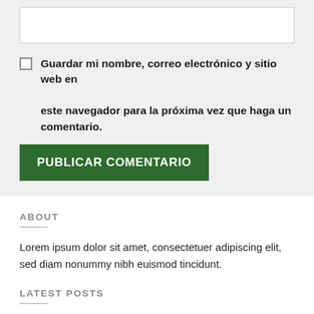[text input box]
Guardar mi nombre, correo electrónico y sitio web en este navegador para la próxima vez que haga un comentario.
PUBLICAR COMENTARIO
ABOUT
Lorem ipsum dolor sit amet, consectetuer adipiscing elit, sed diam nonummy nibh euismod tincidunt.
LATEST POSTS